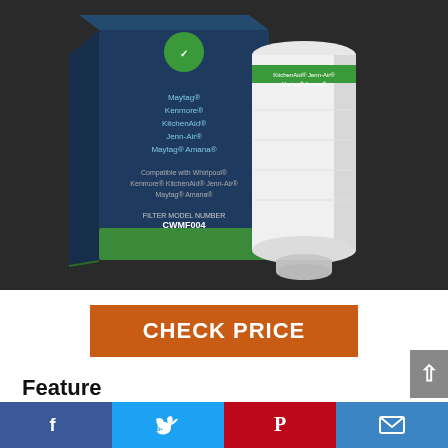[Figure (photo): Product photo showing a water filter box (dark blue with green bottom stripe, labeled 'FILTER MODEL NUMBER CWMF004', compatible with Whirlpool, Kenmore, KitchenAid, Jenn-Air, Maytag, Amana) alongside a white cylindrical filter cartridge, on a dark background.]
CHECK PRICE
Feature
High quality, affordable activated carbon filter replacement for Filter 4 UKF8001 Compatible with